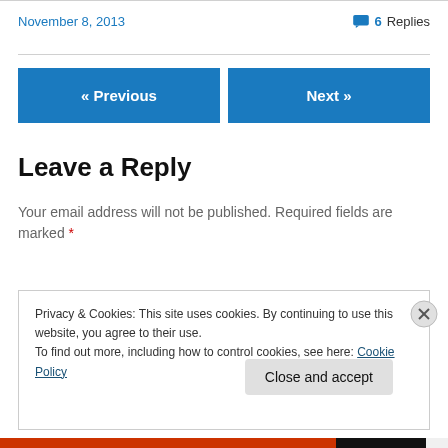November 8, 2013
6 Replies
« Previous
Next »
Leave a Reply
Your email address will not be published. Required fields are marked *
Privacy & Cookies: This site uses cookies. By continuing to use this website, you agree to their use.
To find out more, including how to control cookies, see here: Cookie Policy
Close and accept